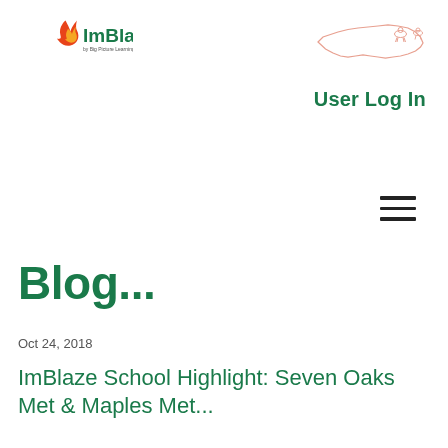[Figure (logo): ImBlaze logo with flame icon in orange/red and green text, with tagline 'by Big Picture Learning' and 'imblaze.org']
[Figure (illustration): Outline illustration of Kentucky state shape with small animal figures, in light coral/salmon color]
User Log In
[Figure (other): Hamburger menu icon — three horizontal lines]
Blog...
Oct 24, 2018
ImBlaze School Highlight: Seven Oaks Met & Maples Met...